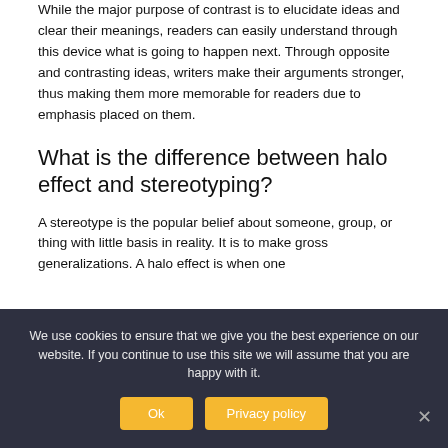While the major purpose of contrast is to elucidate ideas and clear their meanings, readers can easily understand through this device what is going to happen next. Through opposite and contrasting ideas, writers make their arguments stronger, thus making them more memorable for readers due to emphasis placed on them.
What is the difference between halo effect and stereotyping?
A stereotype is the popular belief about someone, group, or thing with little basis in reality. It is to make gross generalizations. A halo effect is when one
We use cookies to ensure that we give you the best experience on our website. If you continue to use this site we will assume that you are happy with it.